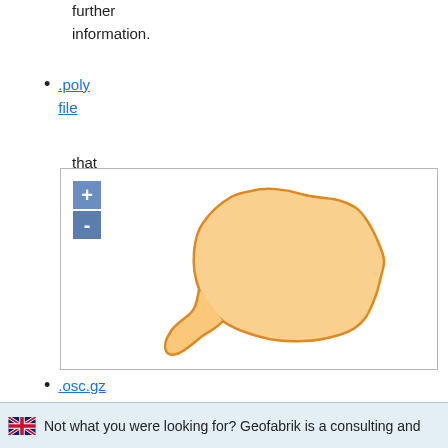further information.
.poly file that describes the extent of this region.
[Figure (map): Interactive web map with zoom + and - buttons showing an orange-outlined region (roughly Île-de-France) filled with light orange/peach color on a white background, inside a bordered map panel.]
.osc.gz files that contain all changes in this region, suitable e.g.
🇬🇧 Not what you were looking for? Geofabrik is a consulting and